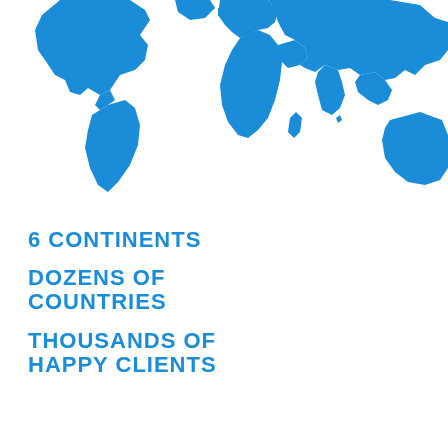[Figure (map): Blue world map silhouette showing all continents on white background, cropped to show upper portion]
6 CONTINENTS
DOZENS OF COUNTRIES
THOUSANDS OF HAPPY CLIENTS